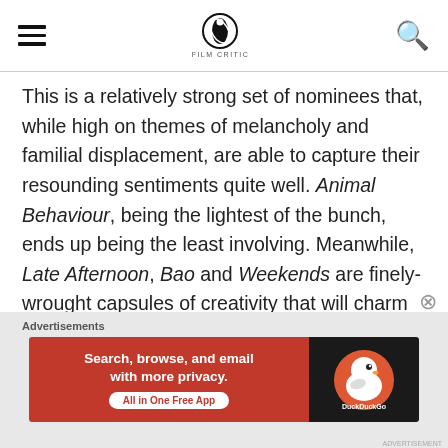FILMICMAG (logo with hamburger menu and search icon)
This is a relatively strong set of nominees that, while high on themes of melancholy and familial displacement, are able to capture their resounding sentiments quite well. Animal Behaviour, being the lightest of the bunch, ends up being the least involving. Meanwhile, Late Afternoon, Bao and Weekends are finely-wrought capsules of creativity that will charm audiences who will relate to their distinct storytelling. The too-ambitious One Small Step ends up square in the middle. It's neither outstanding nor terrible, which for some will be good enough.
[Figure (other): DuckDuckGo advertisement banner: 'Search, browse, and email with more privacy. All in One Free App' on red background with DuckDuckGo duck logo on dark background]